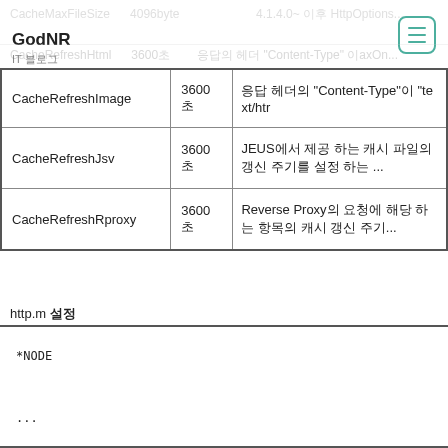GodNR / IT 블로그
| 항목 | 기본값 | 설명 |
| --- | --- | --- |
| CacheRefreshHtml | 3600초 | 응답 헤더의 "Content-Type"이 "text/ht... |
| CacheRefreshImage | 3600초 | 응답 헤더의 "Content-Type"이 "text/ht... |
| CacheRefreshJsv | 3600초 | JEUS에서 제공하는 기능으로 캐시 파일의 갱신 주기를 설정 ... |
| CacheRefreshRproxy | 3600초 | Reverse Proxy의 요청에 해당하는 항목의 캐시 갱신 주기... |
http.m 설정
*NODE

...

CacheKey = HOST_URI,   #(default)

CacheEntry(ce) = 1024,

MaxCacheMemorySize(mcms) = 100,       # (MByte)

CacheMaxFileSize(cmfs) = 4096,        # (Byte)

CacheRefreshImage = 3600,      # (sec.)